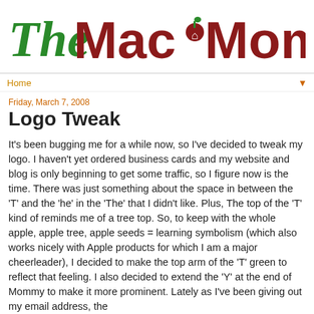[Figure (logo): TheMacMommy.com logo with stylized green cursive 'The' and dark red 'MacMommy' with apple icon, and green '.com']
Home ▼
Friday, March 7, 2008
Logo Tweak
It's been bugging me for a while now, so I've decided to tweak my logo. I haven't yet ordered business cards and my website and blog is only beginning to get some traffic, so I figure now is the time. There was just something about the space in between the 'T' and the 'he' in the 'The' that I didn't like. Plus, The top of the 'T' kind of reminds me of a tree top. So, to keep with the whole apple, apple tree, apple seeds = learning symbolism (which also works nicely with Apple products for which I am a major cheerleader), I decided to make the top arm of the 'T' green to reflect that feeling. I also decided to extend the 'Y' at the end of Mommy to make it more prominent. Lately as I've been giving out my email address, the